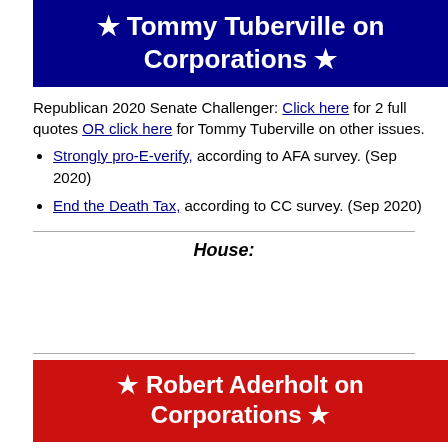★ Tommy Tuberville on Corporations ★
Republican 2020 Senate Challenger: Click here for 2 full quotes OR click here for Tommy Tuberville on other issues.
Strongly pro-E-verify, according to AFA survey. (Sep 2020)
End the Death Tax, according to CC survey. (Sep 2020)
House:
★ Robert Aderholt on Corporations ★
Republican Representative, 4th District: